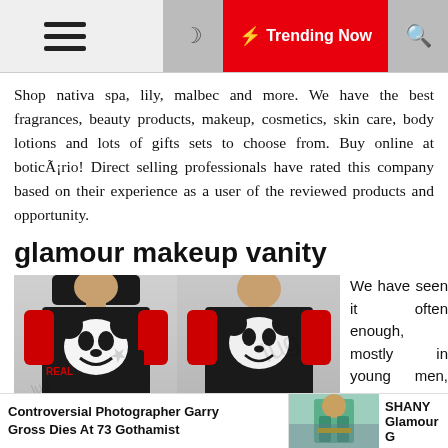☰  🌙  ⚡ Trending Now  🔍
Shop nativa spa, lily, malbec and more. We have the best fragrances, beauty products, makeup, cosmetics, skin care, body lotions and lots of gifts sets to choose from. Buy online at boticÃ¡rio! Direct selling professionals have rated this company based on their experience as a user of the reviewed products and opportunity.
glamour makeup vanity
[Figure (photo): Two front/back views of a woman wearing a black and red Mickey Mouse 'STAYREAL' graphic t-shirt dress]
We have seen it often enough, mostly in young men, sagging
Controversial Photographer Garry Gross Dies At 73 Gothamist  |  [image]  |  SHANY Glamour G‌
Controversial Photographer Garry Gross Dies At 73 Gothamist
SHANY Glamour G‌